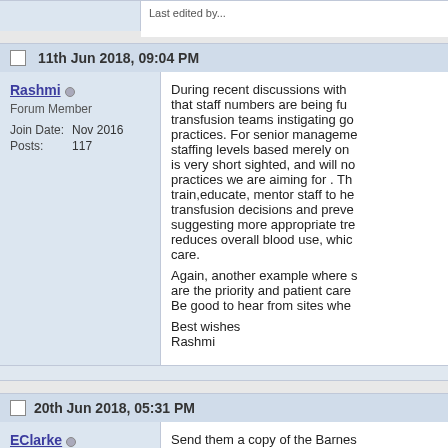Last edited by ...
11th Jun 2018, 09:04 PM
Rashmi
Forum Member
Join Date: Nov 2016
Posts: 117
During recent discussions with ... that staff numbers are being fu... transfusion teams instigating go... practices. For senior manageme... staffing levels based merely on ... is very short sighted, and will n... practices we are aiming for . Th... train,educate, mentor staff to he... transfusion decisions and preve... suggesting more appropriate tr... reduces overall blood use, whi... care.
Again, another example where ... are the priority and patient care...
Be good to hear from sites whe...
Best wishes
Rashmi
20th Jun 2018, 05:31 PM
EClarke
Send them a copy of the Barne...